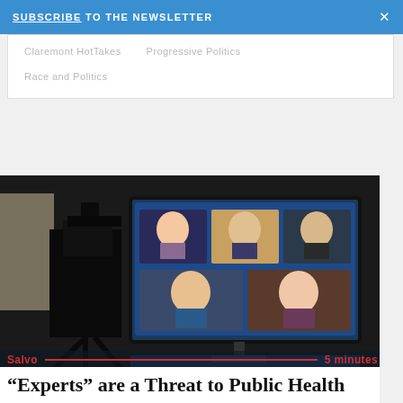SUBSCRIBE TO THE NEWSLETTER ×
Claremont HotTakes
Progressive Politics
Race and Politics
[Figure (photo): A television screen showing a video conference panel with five participants (experts in suits), filmed by a professional video camera in a studio setting.]
Salvo  5 minutes
“Experts” are a Threat to Public Health